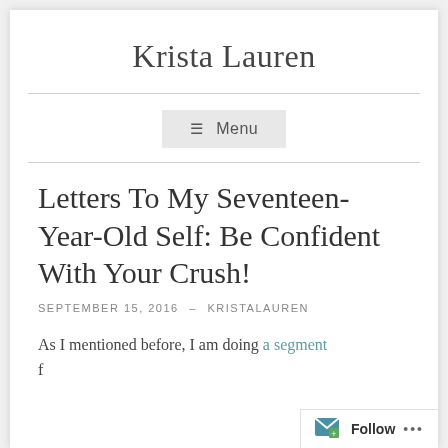Krista Lauren
Menu
Letters To My Seventeen-Year-Old Self: Be Confident With Your Crush!
SEPTEMBER 15, 2016  –  KRISTALAUREN
As I mentioned before, I am doing a segment f...